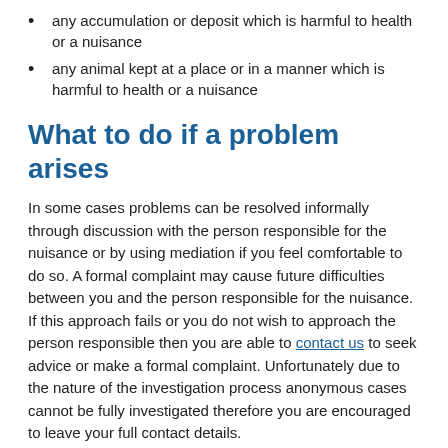any accumulation or deposit which is harmful to health or a nuisance
any animal kept at a place or in a manner which is harmful to health or a nuisance
What to do if a problem arises
In some cases problems can be resolved informally through discussion with the person responsible for the nuisance or by using mediation if you feel comfortable to do so. A formal complaint may cause future difficulties between you and the person responsible for the nuisance. If this approach fails or you do not wish to approach the person responsible then you are able to contact us to seek advice or make a formal complaint. Unfortunately due to the nature of the investigation process anonymous cases cannot be fully investigated therefore you are encouraged to leave your full contact details.